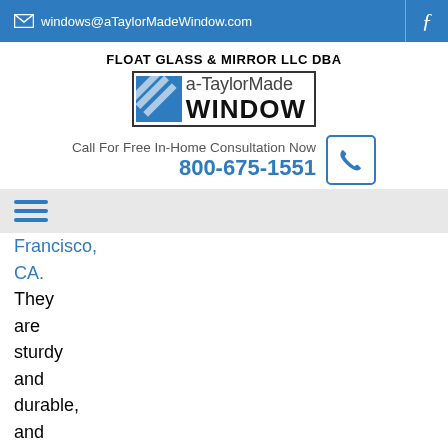windows@aTaylorMadeWindow.com
[Figure (logo): a-TaylorMade Window logo with blue diamond graphic and text 'FLOAT GLASS & MIRROR LLC DBA a-TaylorMade WINDOW']
Call For Free In-Home Consultation Now 800-675-1551
[Figure (other): Hamburger menu icon with three blue horizontal lines]
Francisco, CA. They are sturdy and durable, and they last for a long time